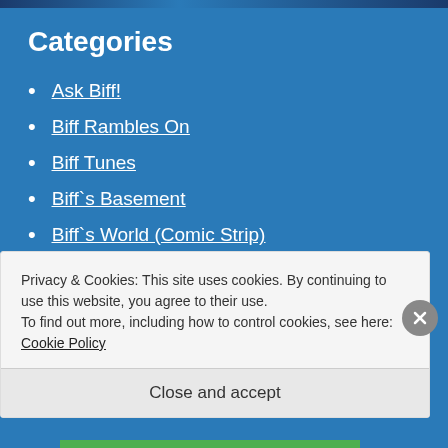Categories
Ask Biff!
Biff Rambles On
Biff Tunes
Biff`s Basement
Biff`s World (Comic Strip)
Biff`s' Piffling Fiction
Humorous
Privacy & Cookies: This site uses cookies. By continuing to use this website, you agree to their use.
To find out more, including how to control cookies, see here: Cookie Policy
Close and accept